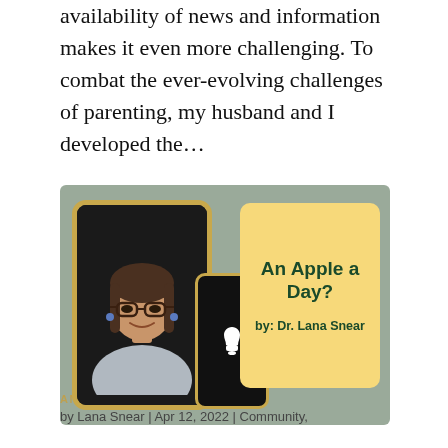availability of news and information makes it even more challenging. To combat the ever-evolving challenges of parenting, my husband and I developed the…
[Figure (illustration): Promotional graphic for 'An Apple a Day?' by Dr. Lana Snear. Shows a woman's photo in a tablet frame, an iPhone with Apple logo, and a yellow card with title text 'An Apple a Day?' and 'by: Dr. Lana Snear' on a sage green background.]
AN APPLE A DAY?
by Lana Snear | Apr 12, 2022 | Community,